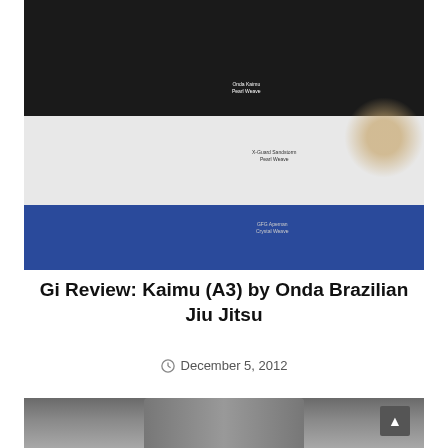[Figure (photo): Close-up of three fabric swatches layered: black fabric on top labeled 'Onda Kaimu Pearl Weave', white fabric in middle labeled 'X-Guard Sandstorm Pearl Weave', and blue fabric at bottom labeled 'GFG Apeman Crystal Weave'. A rope detail is visible on the right side.]
Gi Review: Kaimu (A3) by Onda Brazilian Jiu Jitsu
December 5, 2012
[Figure (photo): Partial photo of a gi (martial arts uniform) jacket, showing collar and upper chest area in grey/white tones.]